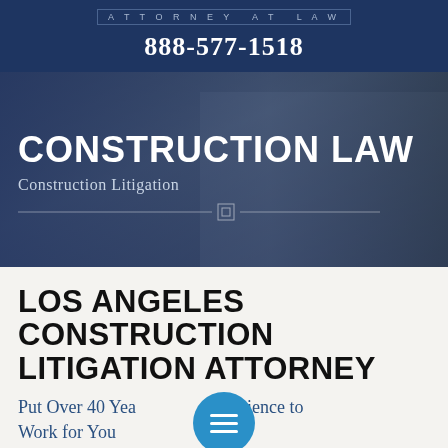ATTORNEY AT LAW
888-577-1518
[Figure (photo): Hero image of construction/legal scene with person holding magnifying glass over documents, scales of justice visible, overlaid with dark blue tint. Text overlaid reads CONSTRUCTION LAW / Construction Litigation with decorative divider.]
LOS ANGELES CONSTRUCTION LITIGATION ATTORNEY
Put Over 40 Years Experience to Work for You